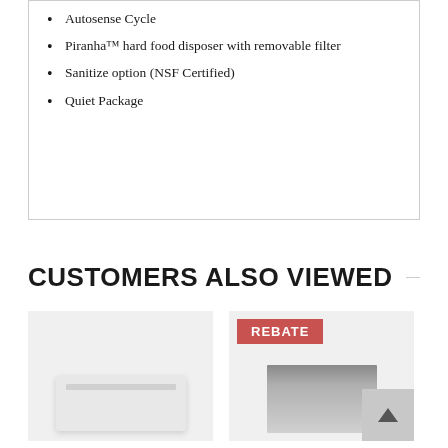Autosense Cycle
Piranha™ hard food disposer with removable filter
Sanitize option (NSF Certified)
Quiet Package
CUSTOMERS ALSO VIEWED
[Figure (photo): White under-cabinet range hood appliance product photo]
[Figure (photo): Stainless steel downdraft ventilation appliance product photo with red REBATE badge]